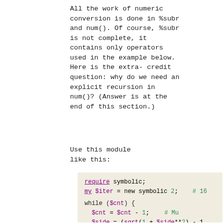All the work of numeric conversion is done in %subr and num(). Of course, %subr is not complete, it contains only operators used in the example below. Here is the extra-credit question: why do we need an explicit recursion in num()? (Answer is at the end of this section.)
Use this module like this:
require symbolic;
my $iter = new symbolic 2;    # 16
my $side = new symbolic 1;
my $cnt = $iter;
while ($cnt) {
    $cnt = $cnt - 1;        # Mu
    $side = (sqrt(1 + $side**2) - 1